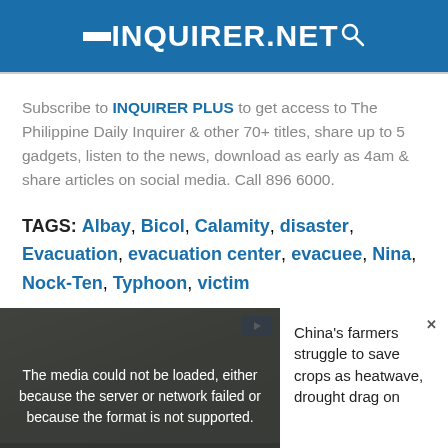INQUIRER.NET
Subscribe to INQUIRER PLUS to get access to The Philippine Daily Inquirer & other 70+ titles, share up to 5 gadgets, listen to the news, download as early as 4am & share articles on social media. Call 896 6000.
TAGS: Albay, Bicol, Calamity, disaster, Evacuation, evacuation center, evacuee, Nina, Nock-Ten, Typhoon, victim
[Figure (screenshot): Media player showing error overlay: 'The media could not be loaded, either because the server or network failed or because the format is not supported.' with thumbnail of China's farmers article in background. Side text reads: China's farmers struggle to save crops as heatwave, drought drag on]